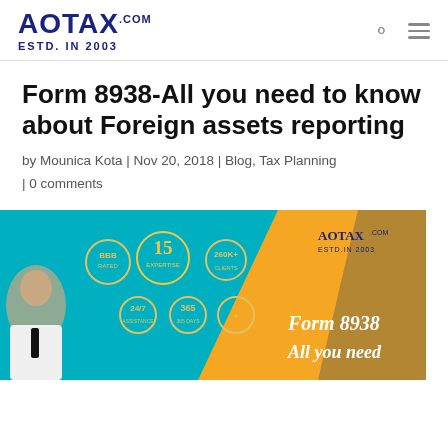AOTAX.COM ESTD. IN 2003
Form 8938-All you need to know about Foreign assets reporting
by Mounica Kota | Nov 20, 2018 | Blog, Tax Planning | 0 comments
[Figure (illustration): Promotional banner for AOTAX.COM featuring a man in a suit pointing, with credential badges (BBB, 15 years expertise, 260K+, 24/7 assistance, 365 days, seal), teal and orange diagonal design, AOTAX logo top right, text 'Form 8938 All you need' in white on orange section]